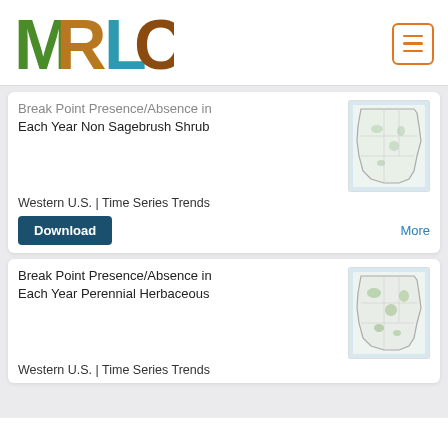[Figure (logo): MRLC logo with nature-themed letters M R L C]
Break Point Presence/Absence in Each Year Non Sagebrush Shrub
[Figure (map): Map of Western US showing Non Sagebrush Shrub data]
Western U.S. | Time Series Trends
Download
More
Break Point Presence/Absence in Each Year Perennial Herbaceous
[Figure (map): Map of Western US showing Perennial Herbaceous data]
Western U.S. | Time Series Trends